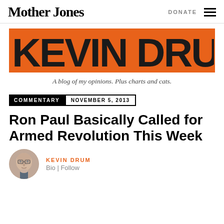Mother Jones | DONATE
[Figure (logo): Kevin Drum blog banner — orange background with large black stylized text KEVIN DRUM]
A blog of my opinions. Plus charts and cats.
COMMENTARY  NOVEMBER 5, 2013
Ron Paul Basically Called for Armed Revolution This Week
KEVIN DRUM
Bio | Follow